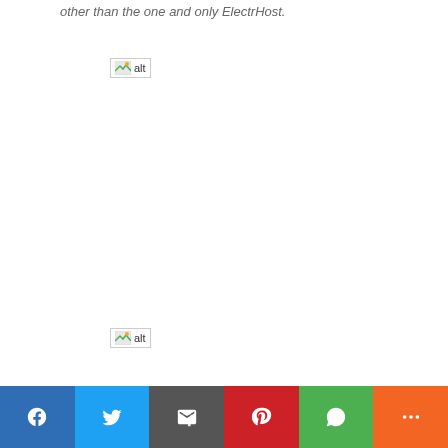other than the one and only ElectrHost.
[Figure (photo): Broken image placeholder (alt text shown)]
[Figure (photo): Broken image placeholder (alt text shown)]
Social share bar: Facebook, Twitter, Email, Pinterest, WhatsApp, More